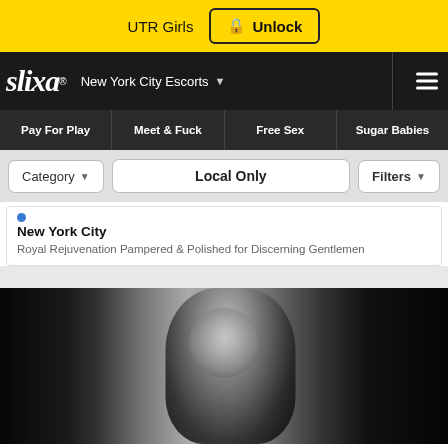UTR Girls  🔒 Unlock
[Figure (screenshot): Slixa escorts website navigation bar with logo, New York City Escorts dropdown, and hamburger menu]
Pay For Play  Meet & Fuck  Free Sex  Sugar Babies
Category ▾  Local Only  Filters ▾
New York City
Royal Rejuvenation Pampered & Polished for Discerning Gentlemen
[Figure (photo): Black and white photo of a woman with long dark hair, viewed from the side/back, wearing a backless outfit]